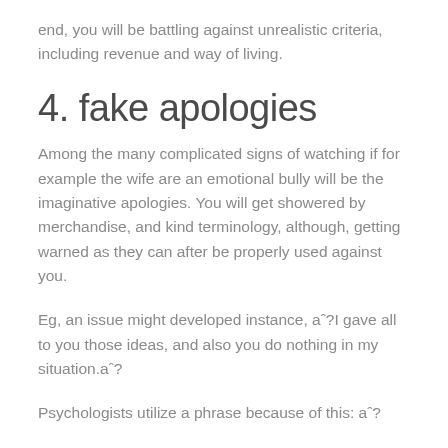end, you will be battling against unrealistic criteria, including revenue and way of living.
4.  fake apologies
Among the many complicated signs of watching if for example the wife are an emotional bully will be the imaginative apologies. You will get showered by merchandise, and kind terminology, although, getting warned as they can after be properly used against you.
Eg, an issue might developed instance, aˆ?I gave all to you those ideas, and also you do nothing in my situation.aˆ?
Psychologists utilize a phrase because of this: aˆ?